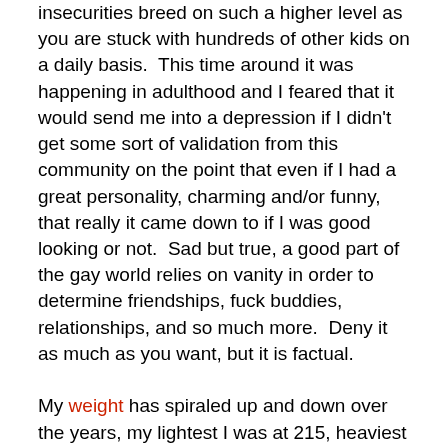insecurities breed on such a higher level as you are stuck with hundreds of other kids on a daily basis.  This time around it was happening in adulthood and I feared that it would send me into a depression if I didn't get some sort of validation from this community on the point that even if I had a great personality, charming and/or funny, that really it came down to if I was good looking or not.  Sad but true, a good part of the gay world relies on vanity in order to determine friendships, fuck buddies, relationships, and so much more.  Deny it as much as you want, but it is factual.

My weight has spiraled up and down over the years, my lightest I was at 215, heaviest I was at 270.  Now I am somewhere in the middle and can honestly say that I am content with where I am at today.  So what caused this shift in perception seven years after my